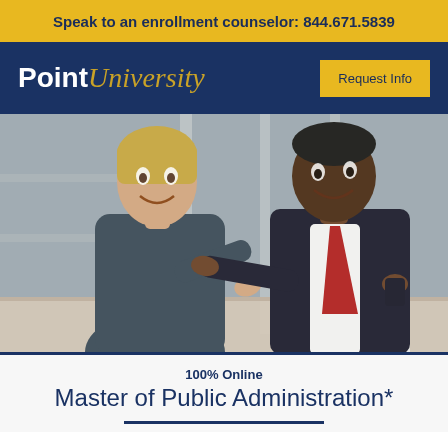Speak to an enrollment counselor: 844.671.5839
[Figure (logo): Point University logo on navy background with 'Request Info' button]
[Figure (photo): Two business professionals smiling and interacting in an office setting — a woman in dark attire and a man in a dark suit with red tie, with a laptop on the table]
100% Online
Master of Public Administration*